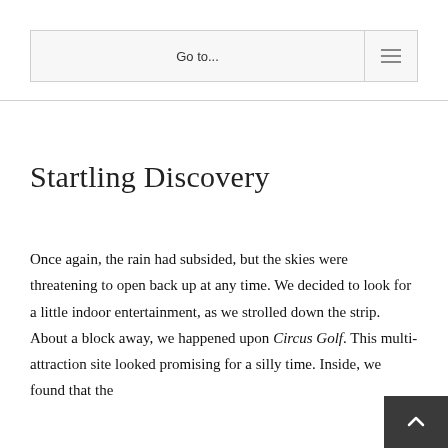Go to...
Startling Discovery
Once again, the rain had subsided, but the skies were threatening to open back up at any time. We decided to look for a little indoor entertainment, as we strolled down the strip. About a block away, we happened upon Circus Golf. This multi-attraction site looked promising for a silly time. Inside, we found that the